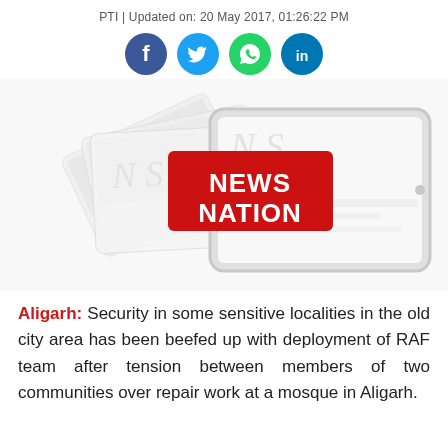PTI | Updated on: 20 May 2017, 01:26:22 PM
[Figure (logo): Social media share icons: Facebook (blue circle), Twitter (cyan circle), WhatsApp (green circle), LinkedIn (blue circle)]
[Figure (photo): News Nation logo on a red background, overlaid on a collage of news tablets and newspapers arranged in a fan, mostly white/light with faded news imagery]
Aligarh: Security in some sensitive localities in the old city area has been beefed up with deployment of RAF team after tension between members of two communities over repair work at a mosque in Aligarh.